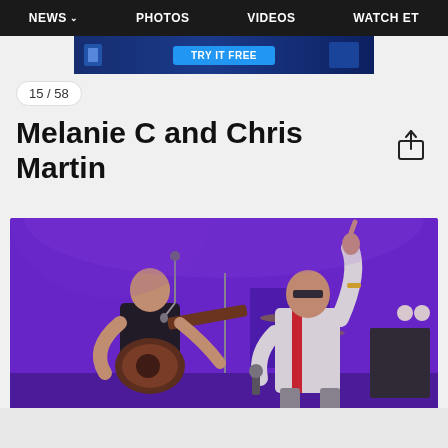NEWS  PHOTOS  VIDEOS  WATCH ET
[Figure (screenshot): Blue advertisement banner with 'TRY IT FREE' button]
15 / 58
Melanie C and Chris Martin
[Figure (photo): Concert photo of Chris Martin playing acoustic guitar and Melanie C singing with one hand raised, on stage with purple lighting]